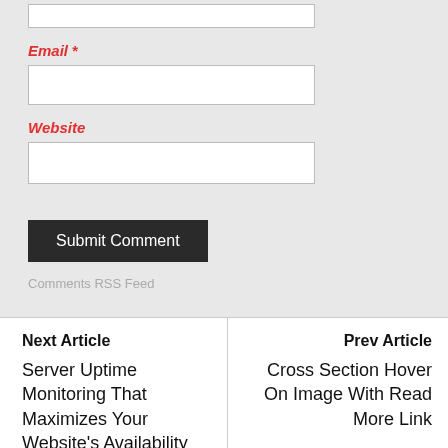Email *
Website
Submit Comment
Comments RSS Feed
Next Article
Server Uptime Monitoring That Maximizes Your Website's Availability
Prev Article
Cross Section Hover On Image With Read More Link
SEARCH HERE